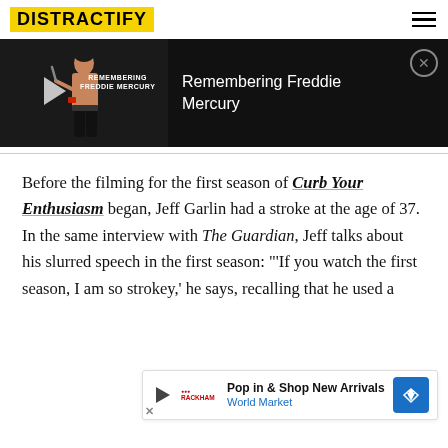DISTRACTIFY
[Figure (screenshot): Promotional video banner with dark background showing Remembering Freddie Mercury. Left side shows a thumbnail with a silhouette of a performer and overlaid text 'REMEMBERING FREDDIE MERCURY'. Right side shows white text 'Remembering Freddie Mercury'. Close button (X in circle) at top right.]
Before the filming for the first season of Curb Your Enthusiasm began, Jeff Garlin had a stroke at the age of 37. In the same interview with The Guardian, Jeff talks about his slurred speech in the first season: "'If you watch the first season, I am so strokey,' he says, recalling that he used a
[Figure (screenshot): Advertisement banner at bottom: Play button icon, World Market logo in red, 'Pop in & Shop New Arrivals' text, 'World Market' in blue, and a blue diamond/map-pin icon on the right.]